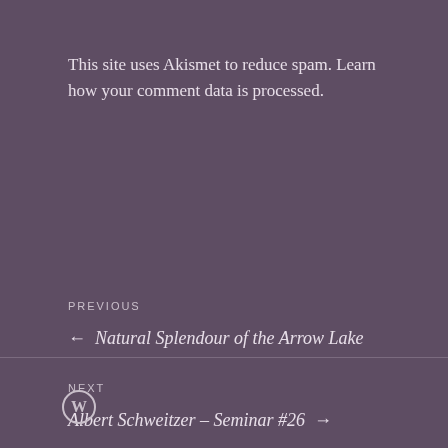This site uses Akismet to reduce spam. Learn how your comment data is processed.
PREVIOUS
← Natural Splendour of the Arrow Lake
NEXT
Albert Schweitzer – Seminar #26 →
WordPress logo